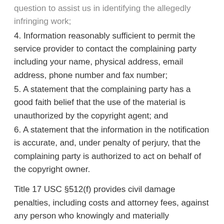question to assist us in identifying the allegedly infringing work;
4. Information reasonably sufficient to permit the service provider to contact the complaining party including your name, physical address, email address, phone number and fax number;
5. A statement that the complaining party has a good faith belief that the use of the material is unauthorized by the copyright agent; and
6. A statement that the information in the notification is accurate, and, under penalty of perjury, that the complaining party is authorized to act on behalf of the copyright owner.
Title 17 USC §512(f) provides civil damage penalties, including costs and attorney fees, against any person who knowingly and materially misrepresents certain information in a notification of infringement under 17 USC §512(c)(3).
Send all takedown notices through our Contact page. Please send by email for prompt attention.
Please note that we may share the identity and information in